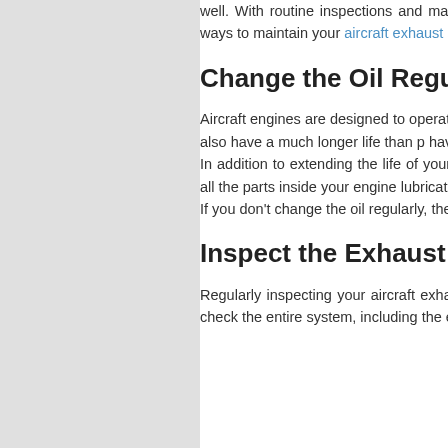well. With routine inspections and maintenance, it won't give you any trouble. In this blog post, we will cover the best ways to maintain your aircraft exhaust system, and how inspection can help reduce the risk of failure during flight.
Change the Oil Regularly
Aircraft engines are designed to operate with synthetic oils that are more stable and less likely to break down than petroleum-based oils. These synthetic oils also have a much longer life than petroleum-based oils, so you have to change the oil in your aircraft every 50 hours or once a year, whichever comes first.
In addition to extending the life of your aircraft engine, changing the oil regularly also helps maintain your exhaust system's health as well by keeping all the parts inside your engine lubricated and preventing them from getting stuck, overheating, or wearing out too quickly.
If you don't change the oil regularly, the parts of your engine, including the exhaust system, will begin to wear more quickly and
Inspect the Exhaust System Ca
Regularly inspecting your aircraft exhaust system is a great way to catch issues before they become major problems. During each inspection, you should check the entire system, including the exhaust manifold, piping, and termination.